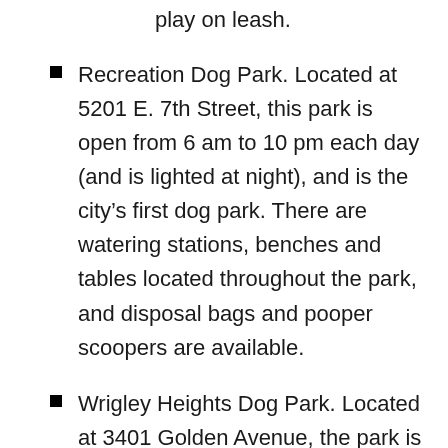play on leash.
Recreation Dog Park. Located at 5201 E. 7th Street, this park is open from 6 am to 10 pm each day (and is lighted at night), and is the city’s first dog park. There are watering stations, benches and tables located throughout the park, and disposal bags and pooper scoopers are available.
Wrigley Heights Dog Park. Located at 3401 Golden Avenue, the park is open from 6 am to 10 pm each day but may be closed at times on Mondays for maintenance as the park is still being developed. Disposal